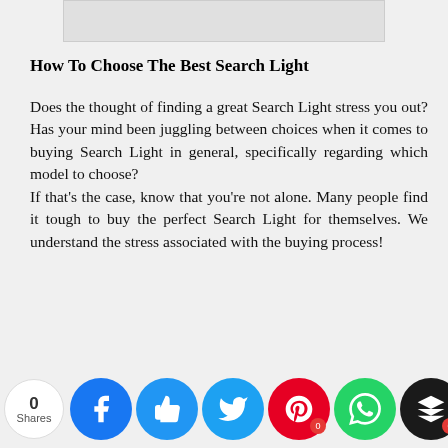[Figure (other): Gray image placeholder at the top of the page]
How To Choose The Best Search Light
Does the thought of finding a great Search Light stress you out? Has your mind been juggling between choices when it comes to buying Search Light in general, specifically regarding which model to choose?
If that's the case, know that you're not alone. Many people find it tough to buy the perfect Search Light for themselves. We understand the stress associated with the buying process!
0 Shares [social share bar with Facebook, thumbs up, Twitter, Pinterest, WhatsApp, Layers, Crown icons]